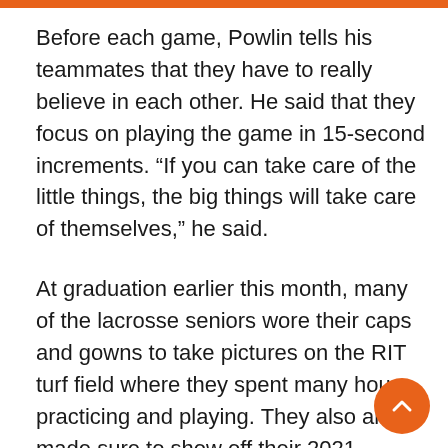Before each game, Powlin tells his teammates that they have to really believe in each other. He said that they focus on playing the game in 15-second increments. “If you can take care of the little things, the big things will take care of themselves,” he said.
At graduation earlier this month, many of the lacrosse seniors wore their caps and gowns to take pictures on the RIT turf field where they spent many hours practicing and playing. They also all made sure to show off their 2021 championship rings.
“It’s been like a dream getting to play high-level collegiate lacrosse and win a national championship,” said Powlin, who is working to get a job in Colorado after the season